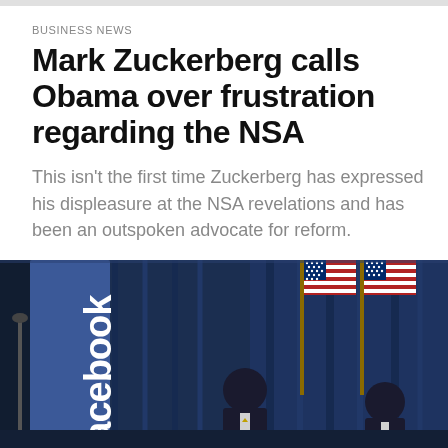BUSINESS NEWS
Mark Zuckerberg calls Obama over frustration regarding the NSA
This isn't the first time Zuckerberg has expressed his displeasure at the NSA revelations and has been an outspoken advocate for reform.
By Ananth Baliga
MARCH 13, 2014 / 5:52 PM
[Figure (photo): Photo showing a Facebook banner/sign on the left, American flags in the center, and people standing in front of dark blue curtains/drapes in the background, suggesting a formal press event or conference.]